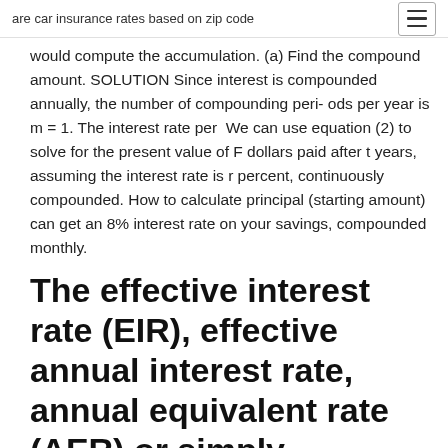are car insurance rates based on zip code
would compute the accumulation. (a) Find the compound amount. SOLUTION Since interest is compounded annually, the number of compounding peri- ods per year is m = 1. The interest rate per  We can use equation (2) to solve for the present value of F dollars paid after t years, assuming the interest rate is r percent, continuously compounded. How to calculate principal (starting amount) can get an 8% interest rate on your savings, compounded monthly.
The effective interest rate (EIR), effective annual interest rate, annual equivalent rate (AER) or simply effective rate is the interest rate on a loan or